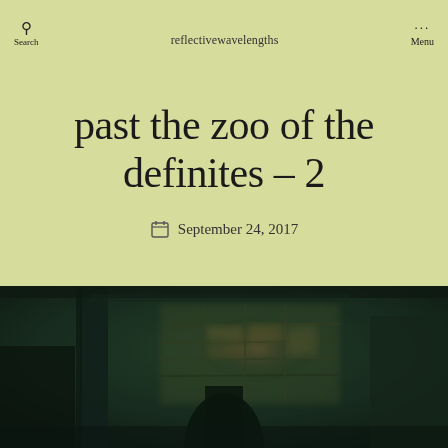Search   reflectivewavelengths   Menu
past the zoo of the definites – 2
September 24, 2017
[Figure (photo): Dark interior architectural photograph showing blurred green-toned interior with columns and stained glass or gridded windows visible in background]